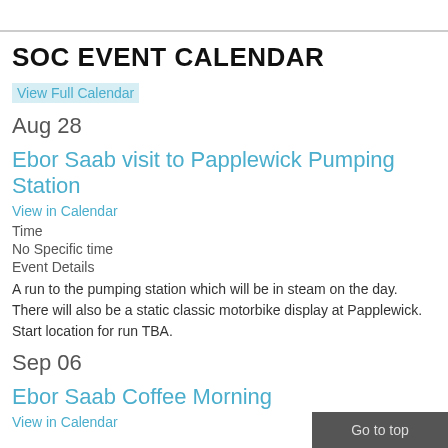SOC EVENT CALENDAR
View Full Calendar
Aug 28
Ebor Saab visit to Papplewick Pumping Station
View in Calendar
Time
No Specific time
Event Details
A run to the pumping station which will be in steam on the day. There will also be a static classic motorbike display at Papplewick. Start location for run TBA.
Sep 06
Ebor Saab Coffee Morning
View in Calendar
Go to top